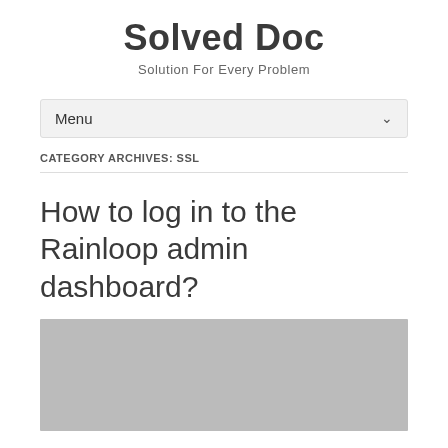Solved Doc
Solution For Every Problem
Menu
CATEGORY ARCHIVES: SSL
How to log in to the Rainloop admin dashboard?
[Figure (photo): Gray placeholder image block]